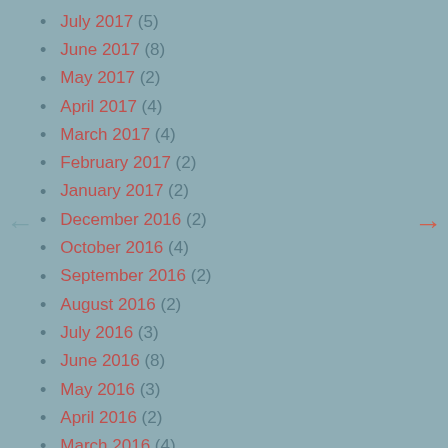July 2017 (5)
June 2017 (8)
May 2017 (2)
April 2017 (4)
March 2017 (4)
February 2017 (2)
January 2017 (2)
December 2016 (2)
October 2016 (4)
September 2016 (2)
August 2016 (2)
July 2016 (3)
June 2016 (8)
May 2016 (3)
April 2016 (2)
March 2016 (4)
February 2016 (1)